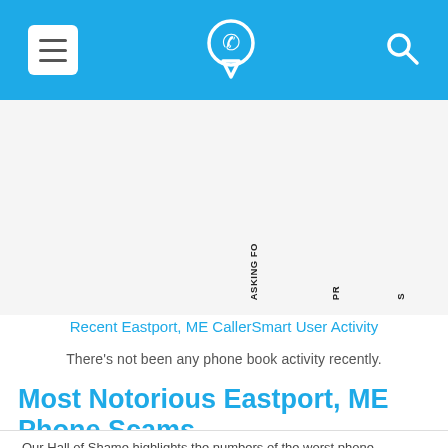CallerSmart header navigation bar with menu, phone/location icon, and search icon
[Figure (screenshot): Navigation tab labels rotated vertically: ASKING FO, PR, S, SPA]
Recent Eastport, ME CallerSmart User Activity
There's not been any phone book activity recently.
Most Notorious Eastport, ME Phone Scams
Our Hall of Shame highlights the numbers of the worst phone scammers and spammers from Eastport, ME. Below you'll find the